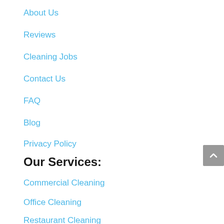About Us
Reviews
Cleaning Jobs
Contact Us
FAQ
Blog
Privacy Policy
Our Services:
Commercial Cleaning
Office Cleaning
Restaurant Cleaning